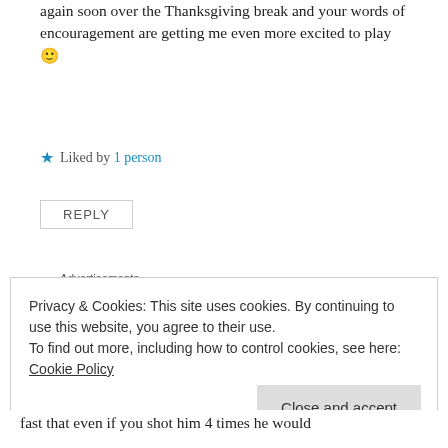again soon over the Thanksgiving break and your words of encouragement are getting me even more excited to play 🙂
★ Liked by 1 person
REPLY
Advertisements
[Figure (other): P2 advertisement: Getting your team on the same page is easy. And free.]
Privacy & Cookies: This site uses cookies. By continuing to use this website, you agree to their use.
To find out more, including how to control cookies, see here: Cookie Policy
Close and accept
fast that even if you shot him 4 times he would